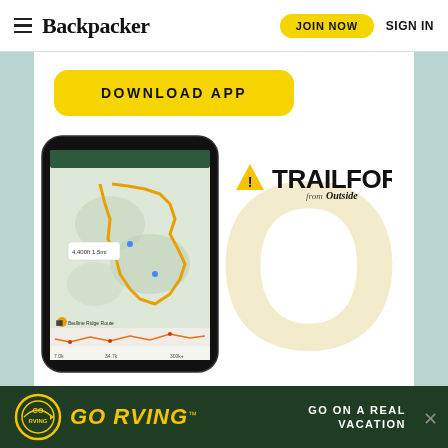Backpacker | JOIN NOW | SIGN IN
[Figure (screenshot): Yellow 'DOWNLOAD APP' button with rounded corners]
[Figure (screenshot): Smartphone showing Trailforks mountain bike trail map app with route overlay and elevation profile]
[Figure (logo): Trailforks logo with yellow triangle/warning icon and text 'TRAILFORKS from Outside']
[Figure (illustration): Large light-yellow letter O watermark in background]
[Figure (infographic): GO RVing advertisement banner: dark green background, yellow GO RVING logo and text, 'GO ON A REAL VACATION' tagline in white]